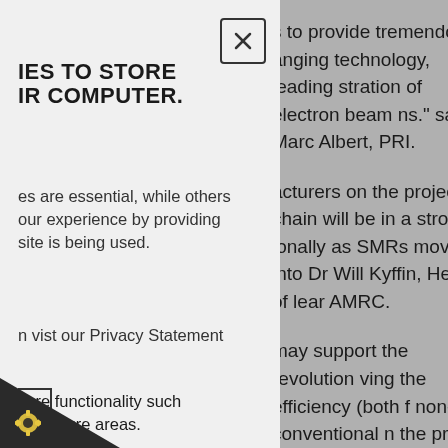s to provide tremendous anging technology, leading stration of electron beam ns." says Marc Albert, PRI.
acturers on the project ply chain will be in a strong ionally as SMRs move into Dr Will Kyffin, Head of lear AMRC.
may support the revolution ving the efficiency (both f non-conventional n the project so far are were shared with more than ar in July 2021.
IES TO STORE IR COMPUTER.
es are essential, while others our experience by providing site is being used.
n vist our Privacy Statement
core functionality such to secure areas.